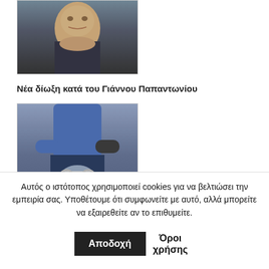[Figure (photo): Photo of a man in a suit, appears to be a politician or public figure]
Νέα δίωξη κατά του Γιάννου Παπαντωνίου
[Figure (photo): Photo of a person in handcuffs, hands behind their back]
Λαμία: Νέα σοκαριστικά στοιχεία για τον 34χρονο-Είχε βιάσει και ανήλικη
[Figure (photo): Partial image of a banner or logo with blue tones]
Αυτός ο ιστότοπος χρησιμοποιεί cookies για να βελτιώσει την εμπειρία σας. Υποθέτουμε ότι συμφωνείτε με αυτό, αλλά μπορείτε να εξαιρεθείτε αν το επιθυμείτε. Αποδοχή Όροι χρήσης